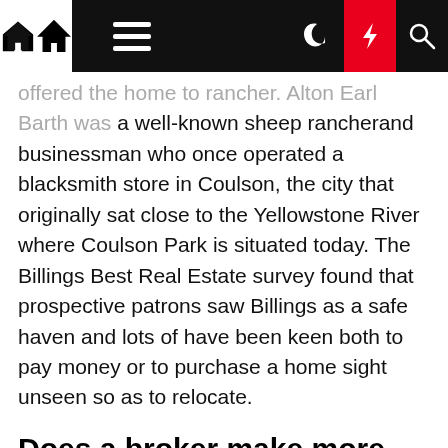[Navigation bar with home, menu, dark mode, lightning, search icons]
offered the home to rancher. Alton Earl Barth was a well-known sheep rancherand businessman who once operated a blacksmith store in Coulson, the city that originally sat close to the Yellowstone River where Coulson Park is situated today. The Billings Best Real Estate survey found that prospective patrons saw Billings as a safe haven and lots of have been keen both to pay money or to purchase a home sight unseen so as to relocate.
Does a broker make more money than a real estate agent?
For starters, real estate brokers make more money on average than agents. According to the U.S. Bureau of Labor Statistics, the average salary of a real estate broker is $75,910. To put this in